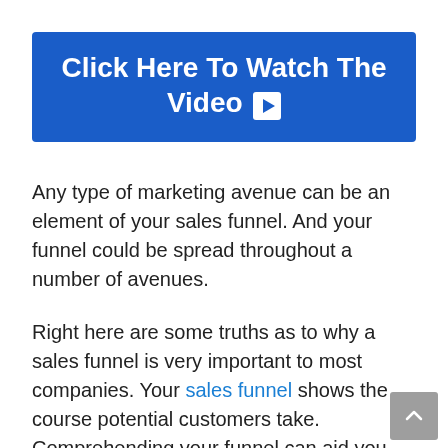[Figure (other): Blue button banner with text 'Click Here To Watch The Video' and a play icon]
Any type of marketing avenue can be an element of your sales funnel. And your funnel could be spread throughout a number of avenues.
Right here are some truths as to why a sales funnel is very important to most companies. Your sales funnel shows the course potential customers take. Comprehending your funnel can aid you